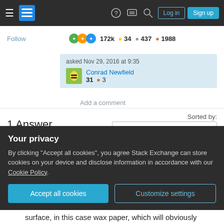Stack Exchange navigation bar with hamburger menu, logo, help, chat, search icons, Log in and Sign up buttons
Follow
172k • 34 • 437 • 1988
asked Nov 29, 2016 at 9:35
Conrad Newfield
31 • 3
Add a comment
1 Answer
Sorted by:
Highest score (default)
Initially, before the water droplet meets any other
Your privacy
By clicking "Accept all cookies", you agree Stack Exchange can store cookies on your device and disclose information in accordance with our Cookie Policy.
Accept all cookies
Customize settings
surface, in this case wax paper, which will obviously